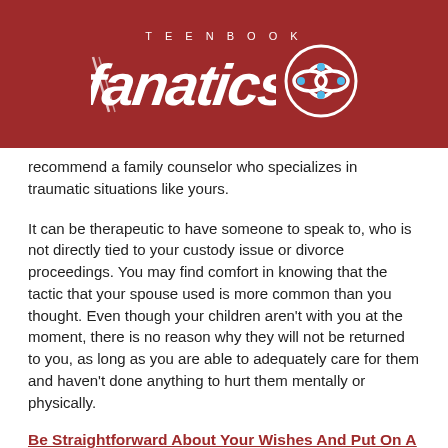[Figure (logo): Teenbook Fanatics logo on dark red background with stylized 'fanatics' script text and a circular infinity-knot emblem]
recommend a family counselor who specializes in traumatic situations like yours.
It can be therapeutic to have someone to speak to, who is not directly tied to your custody issue or divorce proceedings. You may find comfort in knowing that the tactic that your spouse used is more common than you thought. Even though your children aren't with you at the moment, there is no reason why they will not be returned to you, as long as you are able to adequately care for them and haven't done anything to hurt them mentally or physically.
Be Straightforward About Your Wishes And Put On A